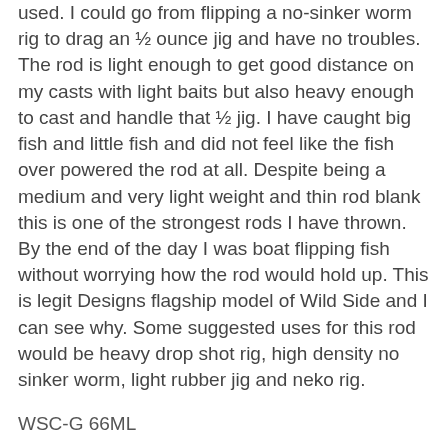used. I could go from flipping a no-sinker worm rig to drag an ½ ounce jig and have no troubles. The rod is light enough to get good distance on my casts with light baits but also heavy enough to cast and handle that ½ jig. I have caught big fish and little fish and did not feel like the fish over powered the rod at all. Despite being a medium and very light weight and thin rod blank this is one of the strongest rods I have thrown. By the end of the day I was boat flipping fish without worrying how the rod would hold up. This is legit Designs flagship model of Wild Side and I can see why. Some suggested uses for this rod would be heavy drop shot rig, high density no sinker worm, light rubber jig and neko rig.
WSC-G 66ML
This is the glass version of the other rod I ordered. This rod is solely a cranking rod. Unlike all the other rods this one is a 100% a glass rod. This rod loads very well on casts and gets good distance. The glass Legit Designed uses is very sensitive and you can feel every movement of the lure as it bangs against structure. They landing ratio of fish is great on this rod as once